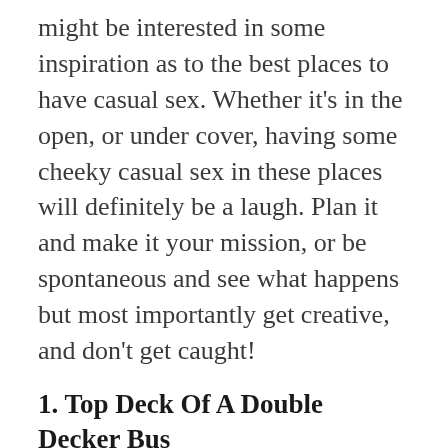might be interested in some inspiration as to the best places to have casual sex. Whether it's in the open, or under cover, having some cheeky casual sex in these places will definitely be a laugh. Plan it and make it your mission, or be spontaneous and see what happens but most importantly get creative, and don't get caught!
1. Top Deck Of A Double Decker Bus
The iconic red buses of London are world famous, and a great way to see London. Hit two birds with one stone and try to fit in a quickie on the top deck of an empty